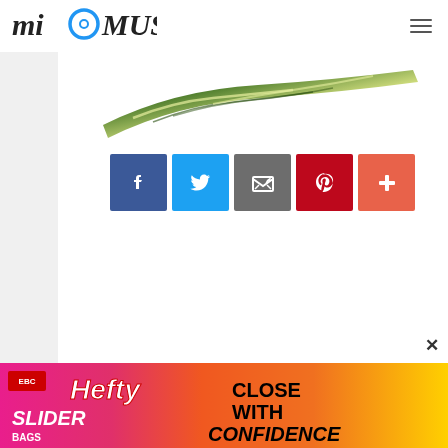[Figure (logo): miOMUSA logo with circular icon between 'mi' and 'MUSA' text, with hamburger menu icon on right]
[Figure (photo): Twisted green and white candy or food product on diagonal]
[Figure (infographic): Five social share buttons: Facebook (blue), Twitter (light blue), Email (gray), Pinterest (red), More/Plus (orange-red)]
[Figure (photo): Hefty Slider bag advertisement banner with pink, orange and yellow background reading CLOSE WITH CONFIDENCE]